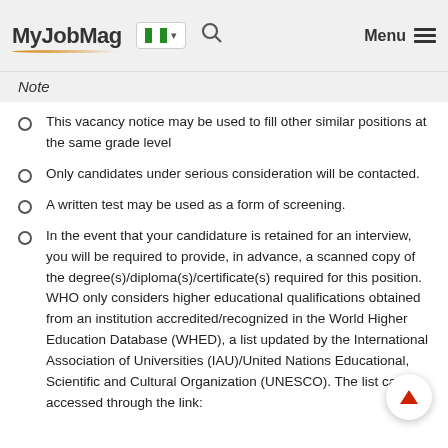MyJobMag [Nigeria flag] Menu
Note
This vacancy notice may be used to fill other similar positions at the same grade level
Only candidates under serious consideration will be contacted.
A written test may be used as a form of screening.
In the event that your candidature is retained for an interview, you will be required to provide, in advance, a scanned copy of the degree(s)/diploma(s)/certificate(s) required for this position. WHO only considers higher educational qualifications obtained from an institution accredited/recognized in the World Higher Education Database (WHED), a list updated by the International Association of Universities (IAU)/United Nations Educational, Scientific and Cultural Organization (UNESCO). The list can be accessed through the link: